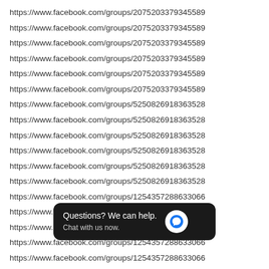https://www.facebook.com/groups/2075203379345589
https://www.facebook.com/groups/2075203379345589
https://www.facebook.com/groups/2075203379345589
https://www.facebook.com/groups/2075203379345589
https://www.facebook.com/groups/2075203379345589
https://www.facebook.com/groups/2075203379345589
https://www.facebook.com/groups/5250826918363528
https://www.facebook.com/groups/5250826918363528
https://www.facebook.com/groups/5250826918363528
https://www.facebook.com/groups/5250826918363528
https://www.facebook.com/groups/5250826918363528
https://www.facebook.com/groups/5250826918363528
https://www.facebook.com/groups/1254357288633066
https://www.facebook.com/groups/1254357288633066
https://www.facebook.com/groups/1254357288633066
https://www.facebook.com/groups/1254357288633066
https://www.facebook.com/groups/1254357288633066
https://www.facebook.com/groups/1254357288633066